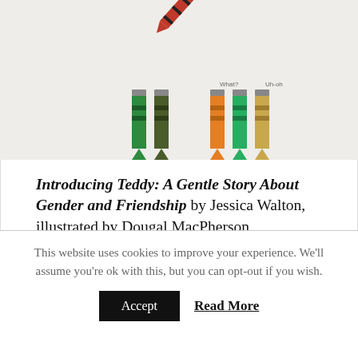[Figure (illustration): Illustration showing colorful crayons standing upright and one red/black striped crayon falling at an angle at the top. Crayons include green, dark green/olive, orange, green, and yellow/tan colors with small speech bubble labels 'What?' and 'Uh-oh' above some of them. Background is light gray.]
Introducing Teddy: A Gentle Story About Gender and Friendship by Jessica Walton, illustrated by Dougal MacPherson
A friendship between a little boy and his teddy bear isn't affected when the teddy bear confesses that he's feeling in his heart that he's a girl teddy, not a boy teddy, and wants to be called by Tilly instead of Teddy. Their friend Ava is accepting of this change too. This book is perfect for the youngest of readers to learn and discuss gender identity.
This website uses cookies to improve your experience. We'll assume you're ok with this, but you can opt-out if you wish.